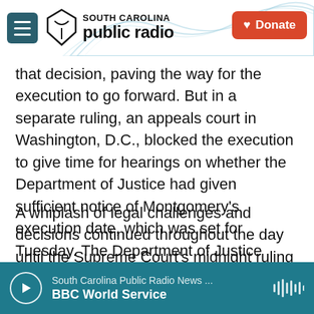[Figure (screenshot): South Carolina Public Radio website header with logo, menu hamburger button, and orange Donate button on white background with decorative wave graphic]
that decision, paving the way for the execution to go forward. But in a separate ruling, an appeals court in Washington, D.C., blocked the execution to give time for hearings on whether the Department of Justice had given sufficient notice of Montgomery's execution date, which was set for Tuesday. The Department of Justice challenged that ruling.
A whiplash of legal challenges and decisions continued throughout the day until the Supreme Court's midnight ruling allowed the federal Bureau of Prisons to proceed with the plan to end
[Figure (screenshot): Audio player bar: teal background with play button circle, showing 'South Carolina Public Radio News ...' and 'BBC World Service', with waveform icon on right]